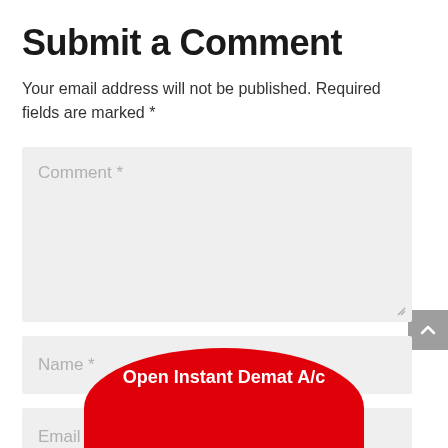Submit a Comment
Your email address will not be published. Required fields are marked *
[Figure (screenshot): Comment text area input field with placeholder text 'Comment *' and resize handle]
[Figure (screenshot): Name input field with placeholder text 'Name *']
[Figure (screenshot): Email input field with placeholder text 'Email *']
[Figure (other): Red circular CTA button with text 'Open Instant Demat A/c' overlapping from bottom of page]